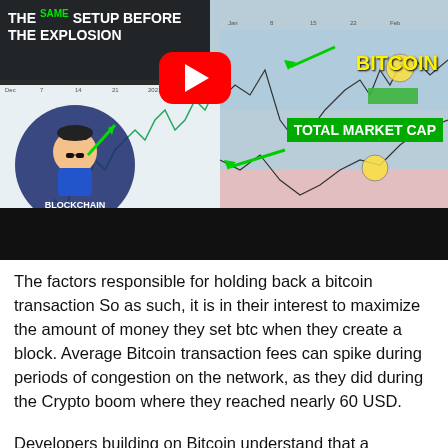[Figure (screenshot): YouTube video thumbnail showing a Bitcoin and Total Market Cap chart with text 'THE SAME SETUP BEFORE THE EXPLOSION', YouTube play button, Blockchain Backer logo, labels BITCOIN and TOTAL MARKET CAP with green arrows, and a black redacted bar at the bottom.]
The factors responsible for holding back a bitcoin transaction So as such, it is in their interest to maximize the amount of money they set btc when they create a block. Average Bitcoin transaction fees can spike during periods of congestion on the network, as they did during the Crypto boom where they reached nearly 60 USD.
Developers building on Bitcoin understand that a